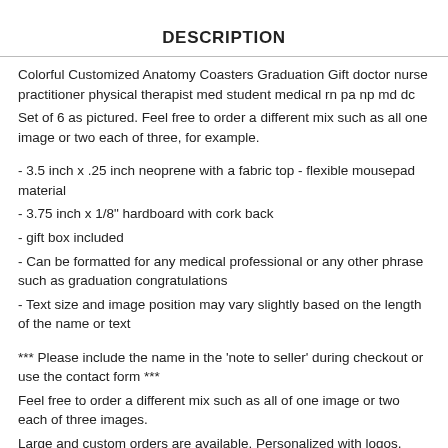DESCRIPTION
Colorful Customized Anatomy Coasters Graduation Gift doctor nurse practitioner physical therapist med student medical rn pa np md dc
Set of 6 as pictured. Feel free to order a different mix such as all one image or two each of three, for example.
- 3.5 inch x .25 inch neoprene with a fabric top - flexible mousepad material
- 3.75 inch x 1/8" hardboard with cork back
- gift box included
- Can be formatted for any medical professional or any other phrase such as graduation congratulations
- Text size and image position may vary slightly based on the length of the name or text
*** Please include the name in the 'note to seller' during checkout or use the contact form ***
Feel free to order a different mix such as all of one image or two each of three images.
Large and custom orders are available. Personalized with logos,